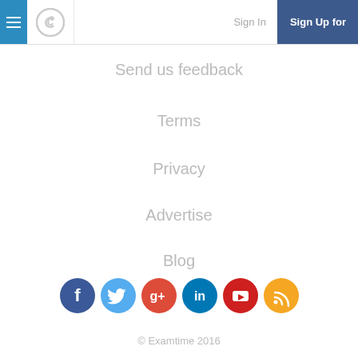Sign In  Sign Up for
Send us feedback
Terms
Privacy
Advertise
Blog
[Figure (infographic): Row of 6 social media icon circles: Facebook (blue), Twitter (light blue), Google+ (red-orange), LinkedIn (blue), YouTube (red-orange), RSS (orange)]
© Examtime 2016